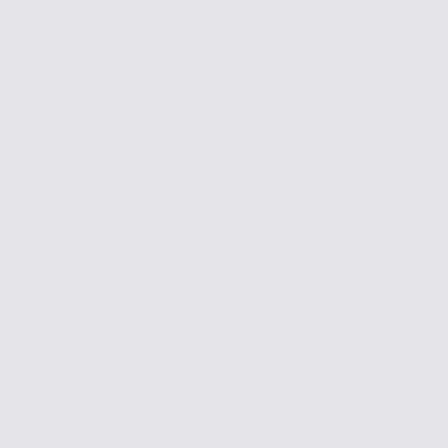He conti... and he w... was so g...
We have... having a... as bad a...
I'm going... now and... hard to lo... the Bactr...
Think I'm... about se... (probably...
Anyway
harleymc
Member
Posts: 1,465
Re... an... « Reply #4...